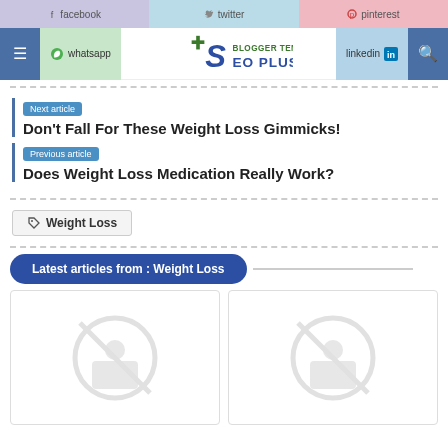[Figure (screenshot): Social sharing top bar with Facebook, Twitter, Pinterest buttons]
[Figure (logo): SEO Plus Blogger Template logo with navigation bar including hamburger menu, whatsapp, linkedin, search]
Next article
Don't Fall For These Weight Loss Gimmicks!
Previous article
Does Weight Loss Medication Really Work?
Weight Loss
Latest articles from : Weight Loss
[Figure (photo): Placeholder image card with no-image icon]
[Figure (photo): Placeholder image card with no-image icon]